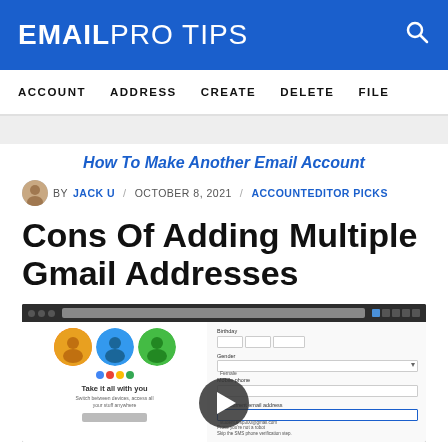EMAILPRO TIPS
ACCOUNT  ADDRESS  CREATE  DELETE  FILE
How To Make Another Email Account
BY JACK U / OCTOBER 8, 2021 / ACCOUNTEDITOR PICKS
Cons Of Adding Multiple Gmail Addresses
[Figure (screenshot): Screenshot of a browser showing a Google account page with fields for Gender, Mobile phone, and Your current email address, overlaid with a play button.]